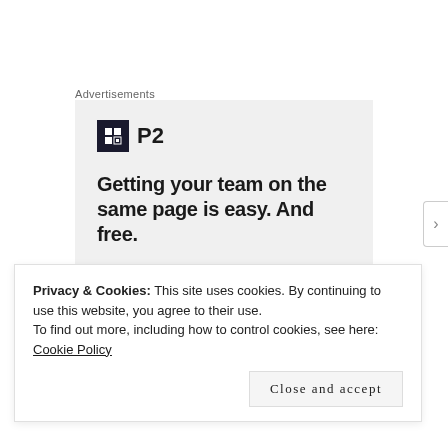Advertisements
[Figure (other): Advertisement for P2 - showing P2 logo with dark square icon, headline 'Getting your team on the same page is easy. And free.' with circular avatar photos of team members and a blue plus button]
Privacy & Cookies: This site uses cookies. By continuing to use this website, you agree to their use.
To find out more, including how to control cookies, see here: Cookie Policy
Close and accept